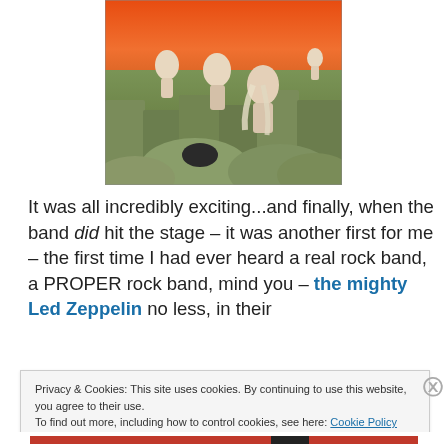[Figure (photo): Album cover art showing figures on rocky stone formations (Giant's Causeway) with an orange sky background - Led Zeppelin 'Houses of the Holy' album cover]
It was all incredibly exciting...and finally, when the band did hit the stage – it was another first for me – the first time I had ever heard a real rock band, a PROPER rock band, mind you – the mighty Led Zeppelin no less, in their
Privacy & Cookies: This site uses cookies. By continuing to use this website, you agree to their use.
To find out more, including how to control cookies, see here: Cookie Policy
Close and accept